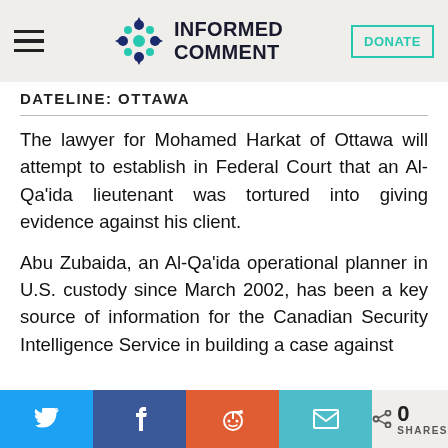INFORMED COMMENT
DATELINE: OTTAWA
The lawyer for Mohamed Harkat of Ottawa will attempt to establish in Federal Court that an Al-Qa’ida lieutenant was tortured into giving evidence against his client.
Abu Zubaida, an Al-Qa’ida operational planner in U.S. custody since March 2002, has been a key source of information for the Canadian Security Intelligence Service in building a case against
0 SHARES